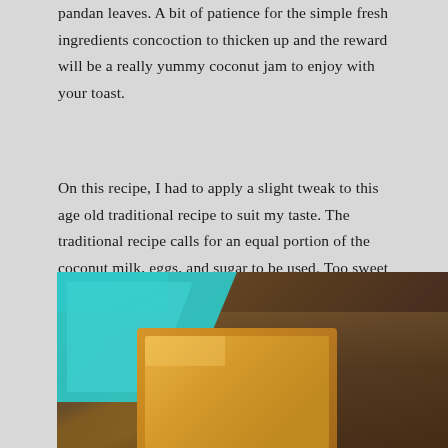pandan leaves. A bit of patience for the simple fresh ingredients concoction to thicken up and the reward will be a really yummy coconut jam to enjoy with your toast.
On this recipe, I had to apply a slight tweak to this age old traditional recipe to suit my taste. The traditional recipe calls for an equal portion of the coconut milk, eggs, and sugar to be used. Too sweet for my taste, so, I halved the amount of sugar called for, added in a bit of Demerara sugar for coloring, and some flour to thicken. Here's the result. Well, if you are into coconut jam or is curious about it, do give this recipe a go and please let me know how it turned out and what you think of Kaya!
[Figure (photo): Photo of Kaya (coconut jam) toast on a plate with teal/cyan napkin in the background and dark wooden surface]